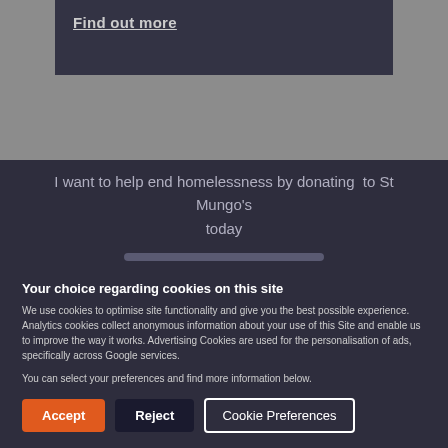[Figure (photo): Dark image banner with 'Find out more' link text visible]
I want to help end homelessness by donating  to St Mungo's today
Your choice regarding cookies on this site
We use cookies to optimise site functionality and give you the best possible experience. Analytics cookies collect anonymous information about your use of this Site and enable us to improve the way it works. Advertising Cookies are used for the personalisation of ads, specifically across Google services.
You can select your preferences and find more information below.
Accept
Reject
Cookie Preferences